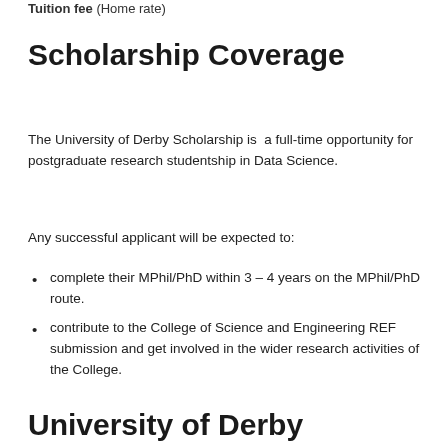Tuition fee (Home rate)
Scholarship Coverage
The University of Derby Scholarship is a full-time opportunity for postgraduate research studentship in Data Science.
Any successful applicant will be expected to:
complete their MPhil/PhD within 3 – 4 years on the MPhil/PhD route.
contribute to the College of Science and Engineering REF submission and get involved in the wider research activities of the College.
University of Derby